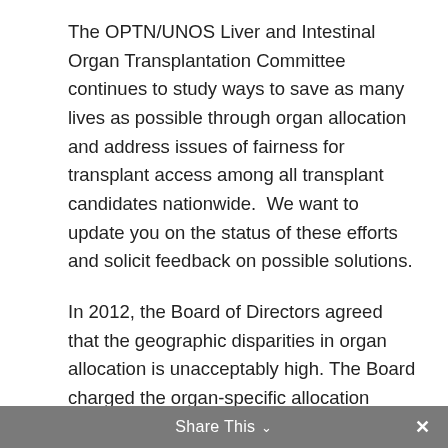The OPTN/UNOS Liver and Intestinal Organ Transplantation Committee continues to study ways to save as many lives as possible through organ allocation and address issues of fairness for transplant access among all transplant candidates nationwide.  We want to update you on the status of these efforts and solicit feedback on possible solutions.
In 2012, the Board of Directors agreed that the geographic disparities in organ allocation is unacceptably high. The Board charged the organ-specific allocation committees, including ours, to investigate how the current geographic patterns of organ distribution may affect transplant candidates' chances to receive organ offers.
Share This ∨  ✕